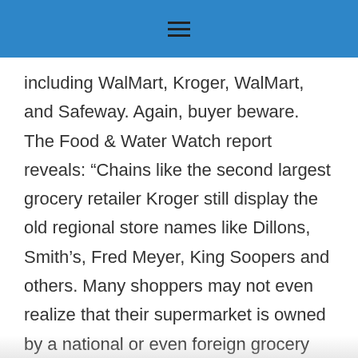≡
including WalMart, Kroger, WalMart, and Safeway. Again, buyer beware. The Food & Water Watch report reveals: “Chains like the second largest grocery retailer Kroger still display the old regional store names like Dillons, Smith’s, Fred Meyer, King Soopers and others. Many shoppers may not even realize that their supermarket is owned by a national or even foreign grocery store chain.”